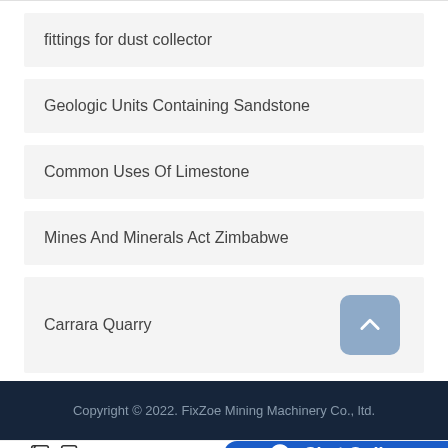fittings for dust collector
Geologic Units Containing Sandstone
Common Uses Of Limestone
Mines And Minerals Act Zimbabwe
Carrara Quarry
Copyright © 2022. FixZoe Mining Machinery Co., ltd.
Leave Message
Chat Online